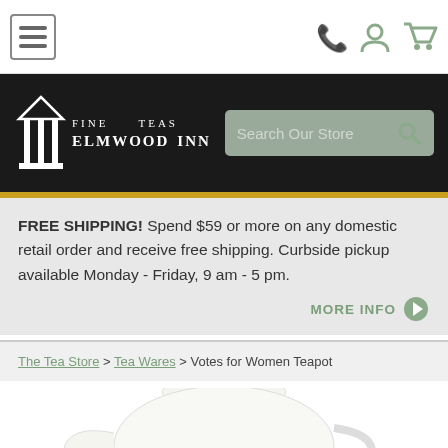Navigation bar with hamburger menu, phone, account, and cart icons
[Figure (logo): Elmwood Inn Fine Teas logo on dark background with search bar]
FREE SHIPPING! Spend $59 or more on any domestic retail order and receive free shipping. Curbside pickup available Monday - Friday, 9 am - 5 pm.
MORE INFO >
The Tea Store > Tea Wares > Votes for Women Teapot
[Figure (photo): White ceramic teapot (Votes for Women Teapot) on white background, partially cropped]